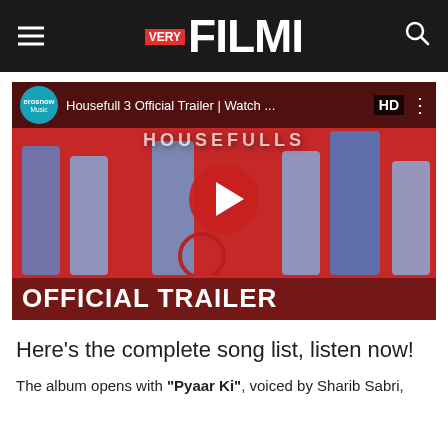VERY FILMI
[Figure (screenshot): YouTube-style video thumbnail showing Housefull 3 Official Trailer with Eros Now Music branding, HD badge, red background, Bollywood cast silhouettes in denim outfits, large YouTube play button in center, 'OFFICIAL TRAILER' text at bottom]
Here's the complete song list, listen now!
The album opens with "Pyaar Ki", voiced by Sharib Sabri,